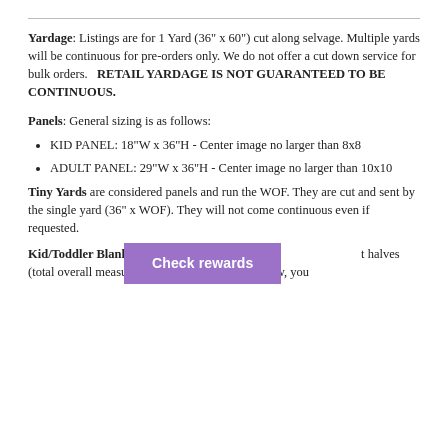Yardage: Listings are for 1 Yard (56" x 60") cut along selvage. Multiple yards will be continuous for pre-orders only. We do not offer a cut down service for bulk orders. RETAIL YARDAGE IS NOT GUARANTEED TO BE CONTINUOUS.
Panels: General sizing is as follows:
KID PANEL: 18"W x 36"H - Center image no larger than 8x8
ADULT PANEL: 29"W x 36"H - Center image no larger than 10x10
Tiny Yards are considered panels and run the WOF. They are cut and sent by the single yard (36" x WOF). They will not come continuous even if requested.
Kid/Toddler Blanket Set [Check rewards] t halves (total overall measurement of p H). To sew, you